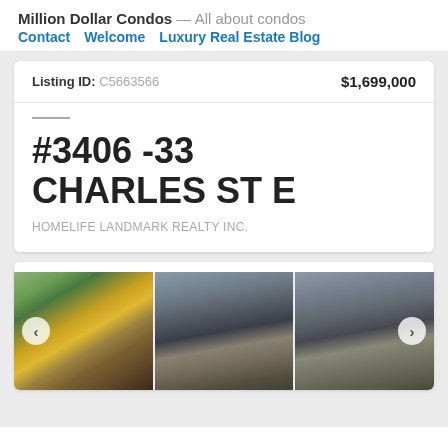Million Dollar Condos — All about condos
Contact  Welcome  Luxury Real Estate Blog
Listing ID: C5663566   $1,699,000
#3406 -33 CHARLES ST E
HOMELIFE LANDMARK REALTY INC.
[Figure (photo): Three photo thumbnails of a condominium building exterior with navigation arrows]